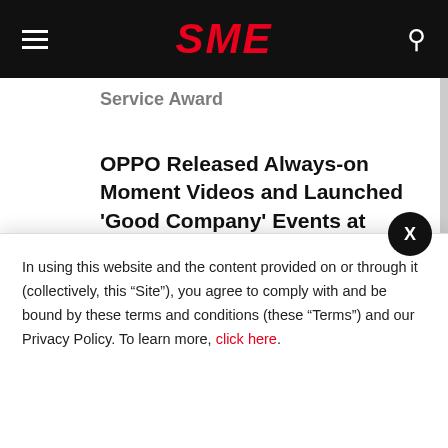SME
Service Award
OPPO Released Always-on Moment Videos and Launched ‘Good Company’ Events at Service Centers
Oasys Accelerates Growth Of Korean Web3 Game Development With Launch Of Inaugural Game Pitch Event In Seoul
Teledyne e2v: Advanced optical digital
In using this website and the content provided on or through it (collectively, this “Site”), you agree to comply with and be bound by these terms and conditions (these "Terms") and our Privacy Policy. To learn more, click here.